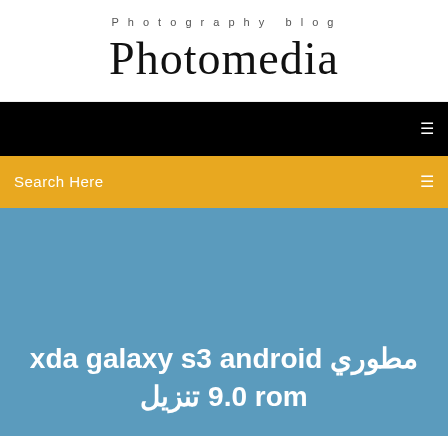Photography blog
Photomedia
☰
Search Here
مطوري xda galaxy s3 android 9.0 rom تنزيل